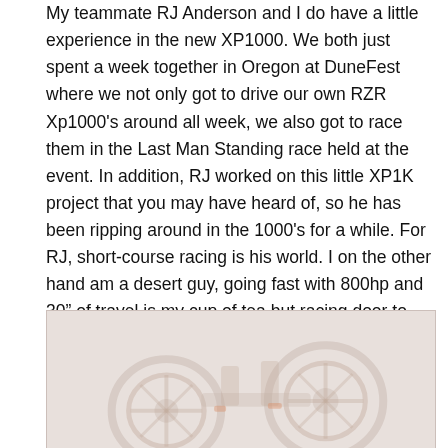My teammate RJ Anderson and I do have a little experience in the new XP1000. We both just spent a week together in Oregon at DuneFest where we not only got to drive our own RZR Xp1000's around all week, we also got to race them in the Last Man Standing race held at the event. In addition, RJ worked on this little XP1K project that you may have heard of, so he has been ripping around in the 1000's for a while. For RJ, short-course racing is his world. I on the other hand am a desert guy, going fast with 800hp and 30" of travel is my cup of tea but racing door to door and launching off of jumps is a bit new, but a challenge I am more then excited to take on!
[Figure (photo): Faded/washed out photo of what appears to be RZR off-road vehicle wheels and chassis components, shown at low opacity against a light background.]